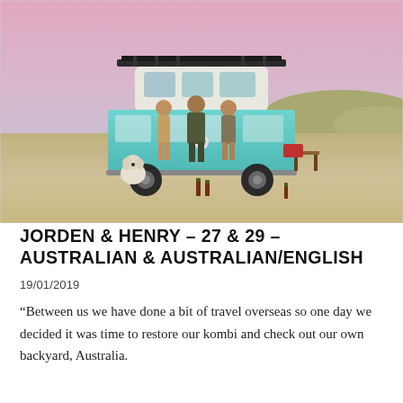[Figure (photo): Three people standing in front of a turquoise vintage VW kombi van on a sandy beach at sunset/dusk. A white dog sits to the left. The van has a roof rack. Pink and purple sky in background with sand dunes.]
JORDEN & HENRY – 27 & 29 – AUSTRALIAN & AUSTRALIAN/ENGLISH
19/01/2019
“Between us we have done a bit of travel overseas so one day we decided it was time to restore our kombi and check out our own backyard, Australia.